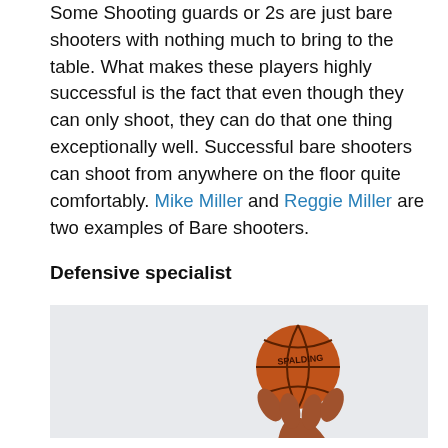Some Shooting guards or 2s are just bare shooters with nothing much to bring to the table. What makes these players highly successful is the fact that even though they can only shoot, they can do that one thing exceptionally well. Successful bare shooters can shoot from anywhere on the floor quite comfortably. Mike Miller and Reggie Miller are two examples of Bare shooters.
Defensive specialist
[Figure (photo): A basketball player holding a Spalding basketball above their head against a light grey background]